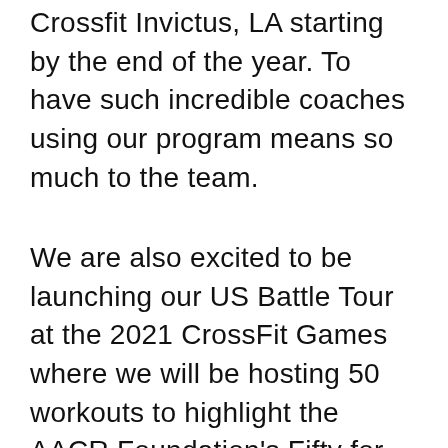Crossfit Invictus, LA starting by the end of the year. To have such incredible coaches using our program means so much to the team.
We are also excited to be launching our US Battle Tour at the 2021 CrossFit Games where we will be hosting 50 workouts to highlight the AACR Foundation's Fifty for Fifty initiative, which commemorates the 50th anniversary of the National Cancer Act, all of our challenges will be powered by Fitr Training. You can access the challenges and take part at home, you